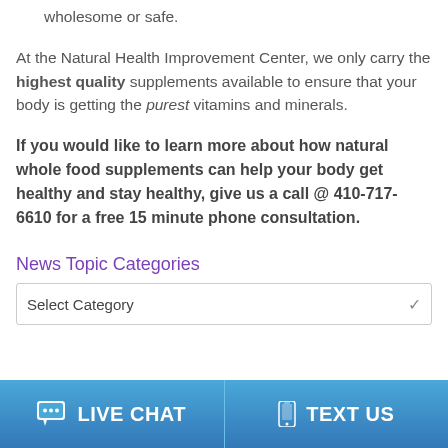wholesome or safe.
At the Natural Health Improvement Center, we only carry the highest quality supplements available to ensure that your body is getting the purest vitamins and minerals.
If you would like to learn more about how natural whole food supplements can help your body get healthy and stay healthy, give us a call @ 410-717-6610 for a free 15 minute phone consultation.
News Topic Categories
Select Category
LIVE CHAT   TEXT US